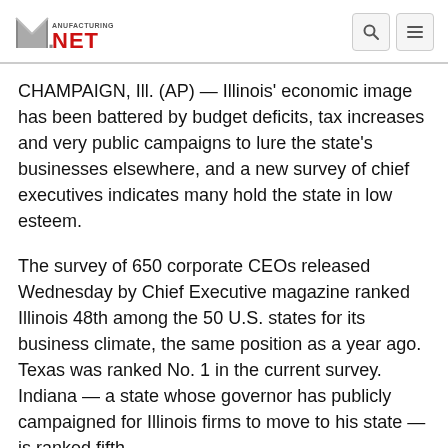Manufacturing.net
CHAMPAIGN, Ill. (AP) — Illinois' economic image has been battered by budget deficits, tax increases and very public campaigns to lure the state's businesses elsewhere, and a new survey of chief executives indicates many hold the state in low esteem.
The survey of 650 corporate CEOs released Wednesday by Chief Executive magazine ranked Illinois 48th among the 50 U.S. states for its business climate, the same position as a year ago. Texas was ranked No. 1 in the current survey. Indiana — a state whose governor has publicly campaigned for Illinois firms to move to his state — is ranked fifth.